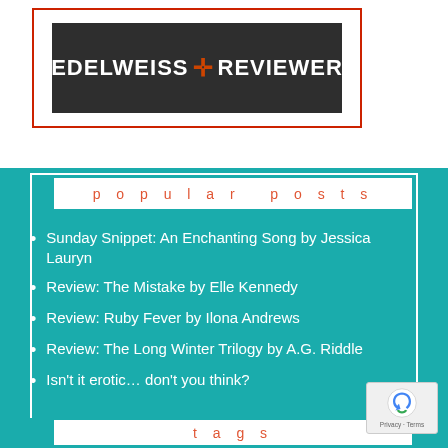[Figure (logo): Edelweiss+ Reviewer logo: white text on dark background with orange plus sign, inside a red-bordered box]
popular posts
Sunday Snippet: An Enchanting Song by Jessica Lauryn
Review: The Mistake by Elle Kennedy
Review: Ruby Fever by Ilona Andrews
Review: The Long Winter Trilogy by A.G. Riddle
Isn't it erotic… don't you think?
tags